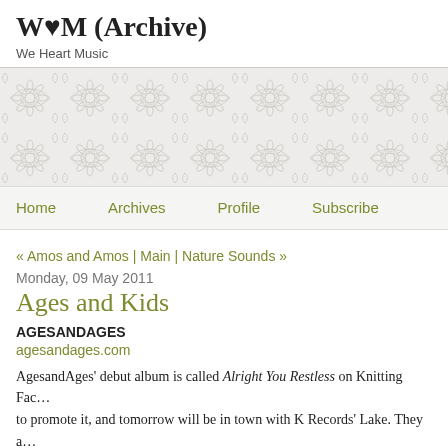W♥M (Archive)
We Heart Music
[Figure (illustration): Decorative damask/floral pattern banner in light grey on white/light grey background]
Home   Archives   Profile   Subscribe
« Amos and Amos | Main | Nature Sounds »
Monday, 09 May 2011
Ages and Kids
AGESANDAGES
agesandages.com
AgesandAges' debut album is called Alright You Restless on Knitting Fac… to promote it, and tomorrow will be in town with K Records' Lake. They a… I…